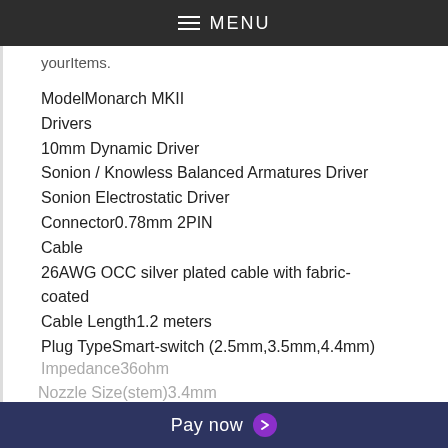MENU
yourItems.
ModelMonarch MKII
Drivers
10mm Dynamic Driver
Sonion / Knowless Balanced Armatures Driver
Sonion Electrostatic Driver
Connector0.78mm 2PIN
Cable
26AWG OCC silver plated cable with fabric-coated
Cable Length1.2 meters
Plug TypeSmart-switch (2.5mm,3.5mm,4.4mm)
Impedance36ohm
Pay now
Nozzle Size(stem)3.4mm